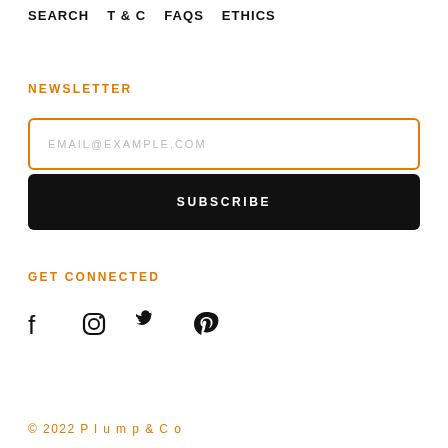SEARCH   T & C   FAQS   ETHICS
NEWSLETTER
EMAIL@EXAMPLE.COM
SUBSCRIBE
GET CONNECTED
[Figure (illustration): Social media icons: Facebook, Instagram, Twitter, Pinterest]
© 2022 P l u m p & C o